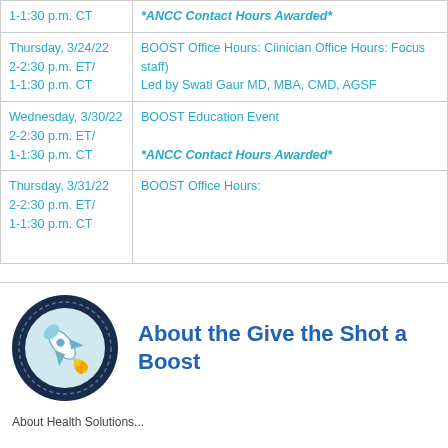| Date/Time | Event |
| --- | --- |
| 1-1:30 p.m. CT | *ANCC Contact Hours Awarded* |
| Thursday, 3/24/22
2-2:30 p.m. ET/
1-1:30 p.m. CT | BOOST Office Hours: Clinician Office Hours: Focus staff)
Led by Swati Gaur MD, MBA, CMD, AGSF |
| Wednesday, 3/30/22
2-2:30 p.m. ET/
1-1:30 p.m. CT | BOOST Education Event

*ANCC Contact Hours Awarded* |
| Thursday, 3/31/22
2-2:30 p.m. ET/
1-1:30 p.m. CT | BOOST Office Hours: |
[Figure (logo): Circular dark navy blue logo with a rocket/syringe illustration inside, representing 'Give the Shot a Boost' campaign]
About the Give the Shot a Boost
About Health Solutions...